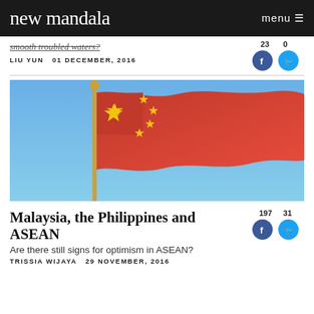new mandala
smooth troubled waters?
LIU YUN 01 DECEMBER, 2016
[Figure (photo): Chinese flag (red with yellow stars) waving against a blue sky]
Malaysia, the Philippines and ASEAN
Are there still signs for optimism in ASEAN?
TRISSIA WIJAYA 29 NOVEMBER, 2016